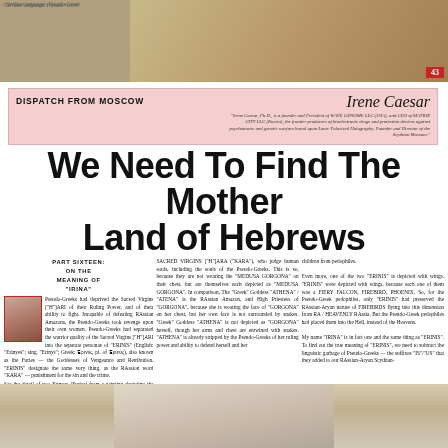Serbian language. Pseudo-Greek
[Figure (photo): Top image strip showing a classical painting or sculpture scene, with a red page number badge showing 43]
DISPATCH FROM MOSCOW
Irene Caesar
"Irene Caesar, Ph.D., is a founder and President of WAVE GENOME LLC (USA), and CEO of MATRIX CITY LLC (Russia), the frontier producers of bioelectronic drugs and protection devices against psychotronic and genetic warfare based upon Laser Polarized Holography. Founder and Director of the Scythian Museum."
We Need To Find The Mother Land of Hebrews
PART SIXTEEN: ON THE MEANING OF "IRINA"

Pseudo-Greeks had deprived the Sacred Virgins ["H"]ARI of their Ruling Power, and of their ability to fight. Incapable of defeating RAssian Amazons, the Pseudo-Greeks took revenge upon their own women. Pseudo-Greeks had separated the warrior quality of the Sacred Virgins ["H"]ARI into the separate personas of "ERINIS" (English: "Erinyes"; sing. "Erinys"; Greek: Ἐρινύς, pl. of Ἐρινύς), also known as the Furies — the Goddesses of Vengeance and Retribution. "ERINIS" designates the same very thing, as the RAssion word "KARA" — punishment for the sin and the crime.

See the detail of two Erinyes (Furies) from a painting depicting the Underworld, Apulian Red Figure Krater, ca 340 BC, at the Badisches Landesmuseum, Karlsruhe, Germany.

The two "ERINIS" ("Erinyes") on the
SACRED VIRGINS ["H"]ARA ("KARA"), who judge human souls, including the souls of the Pseudo-Greeks. This is so, because they are not wearing the "MEDUSA GORGONA" on their chest, but are themselves each depicted as "MEDUSA GORGONA". In comparison, The "Greek" Goddess "ATHENA" / "ATENA" is the RAssian Amazon, and High Priestess of "GORGONA", because she is wearing the face of "GORGONA" on her chest, but her own face is not surrounded by snakes. "Greek" Goddess "ATHENA" is not depicted as "GORGONA" herself, though her arms and chest are entwined with snakes. "ATHENA" is already stripped by the Pseudo-Greeks of her ruling power and ability to defend herself and her
children from pedophiles.

Even more, one of the two "ERINIS" is depicted with wings. "ERINIS" were depicted with wings, because each one of them was a FIERY FALCON, FIREBIRD, PHOENIX. So, for the Pseudo-Greek pedophiles, only "ERINIS" had preserved the RAssian-Aryan nature of FIREBIRDS flying into this dimension from RA / HEAVENLY RAssia. But the Pseudo-Greek pedophiles had placed them into the Hell, instead of the Heavens.

My name "IRINA" is in fact one and the same thing as "ERINIS". To find out the true meaning of "ERINIS", we need to subtract the linguistic garbage of Pseudo-Greeks — the suffixes "IS"/"US" that they added to our RAssian-Aryan Scythian-
[Figure (photo): Bottom image showing a woman figure in classical or mythological style against a sky background]